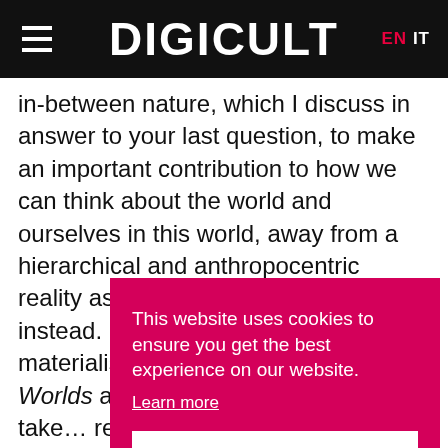DIGICULT  EN  IT
in-between nature, which I discuss in answer to your last question, to make an important contribution to how we can think about the world and ourselves in this world, away from a hierarchical and anthropocentric reality as a co-dependent cosmos instead. I have written about a sonic materialism in both Sonic Possible Worlds and in The Political Poss… take… rece… term… on th… spac… ontologies, and a feminine new materialism, that is
This website uses cookies to ensure you get the best experience on our website. Learn more Got it